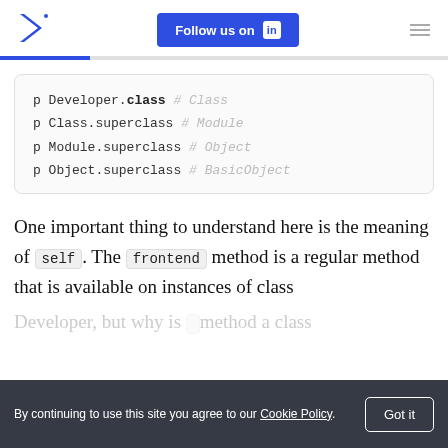Follow us on LinkedIn
[Figure (screenshot): Code block showing Ruby class hierarchy: p Developer.class # Class, p Class.superclass # Module, p Module.superclass # Object, p Object.superclass # BasicObject]
One important thing to understand here is the meaning of self. The frontend method is a regular method that is available on instances of class
By continuing to use this site you agree to our Cookie Policy.